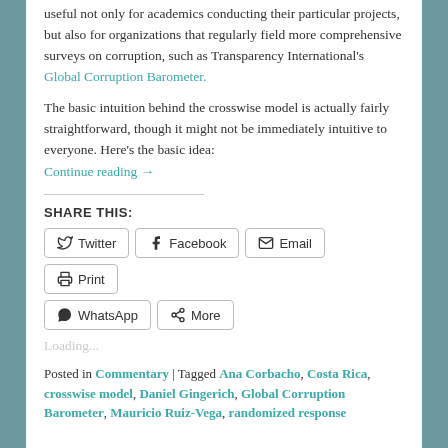useful not only for academics conducting their particular projects, but also for organizations that regularly field more comprehensive surveys on corruption, such as Transparency International's Global Corruption Barometer.
The basic intuition behind the crosswise model is actually fairly straightforward, though it might not be immediately intuitive to everyone. Here's the basic idea:
Continue reading →
SHARE THIS:
Twitter | Facebook | Email | Print | WhatsApp | More
Loading...
Posted in Commentary | Tagged Ana Corbacho, Costa Rica, crosswise model, Daniel Gingerich, Global Corruption Barometer, Mauricio Ruiz-Vega, randomized response